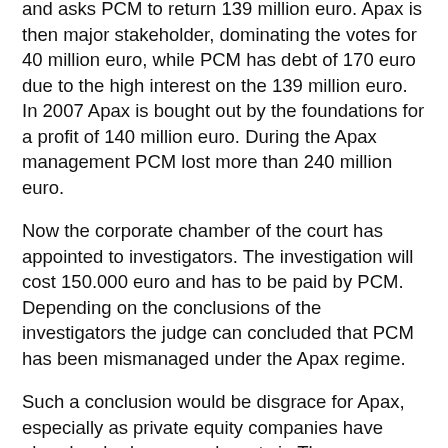and asks PCM to return 139 million euro. Apax is then major stakeholder, dominating the votes for 40 million euro, while PCM has debt of 170 euro due to the high interest on the 139 million euro. In 2007 Apax is bought out by the foundations for a profit of 140 million euro. During the Apax management PCM lost more than 240 million euro.
Now the corporate chamber of the court has appointed to investigators. The investigation will cost 150.000 euro and has to be paid by PCM. Depending on the conclusions of the investigators the judge can concluded that PCM has been mismanaged under the Apax regime.
Such a conclusion would be disgrace for Apax, especially as private equity companies have already a bad name as locusts in The Netherlands. Theoretically the conclusion could lead to dismissal of the governors and return of premiums of the governors and managers. Yet these measures would have hardly any effect on PCM. Most of the governors and managers involved have been dismissed and some of the managers have not accepted their premium. Mr Groenewegen, who started as cfo in 2005, is the only manager left from this period, while Stronzers is the only